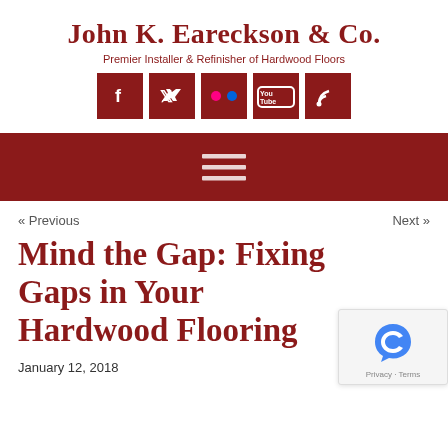John K. Eareckson & Co.
Premier Installer & Refinisher of Hardwood Floors
[Figure (infographic): Five dark red social media icon buttons: Facebook (f), Twitter (bird), Flickr (two dots), YouTube (You Tube), RSS (signal icon)]
[Figure (infographic): Dark red navigation bar with hamburger menu icon (three horizontal lines)]
« Previous         Next »
Mind the Gap: Fixing Gaps in Your Hardwood Flooring
January 12, 2018